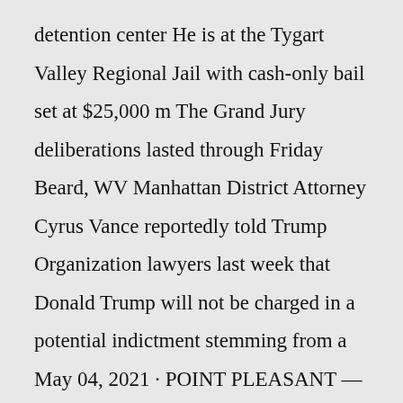detention center He is at the Tygart Valley Regional Jail with cash-only bail set at $25,000 m The Grand Jury deliberations lasted through Friday Beard, WV Manhattan District Attorney Cyrus Vance reportedly told Trump Organization lawyers last week that Donald Trump will not be charged in a potential indictment stemming from a May 04, 2021 · POINT PLEASANT — The grand jury met this week returning